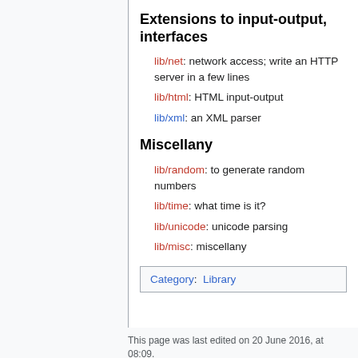Extensions to input-output, interfaces
lib/net: network access; write an HTTP server in a few lines
lib/html: HTML input-output
lib/xml: an XML parser
Miscellany
lib/random: to generate random numbers
lib/time: what time is it?
lib/unicode: unicode parsing
lib/misc: miscellany
Category:  Library
This page was last edited on 20 June 2016, at 08:09.